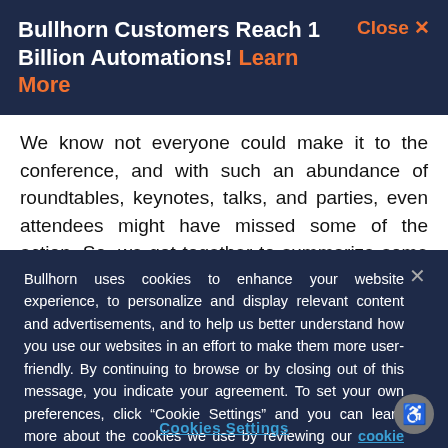Bullhorn Customers Reach 1 Billion Automations! Learn More
We know not everyone could make it to the conference, and with such an abundance of roundtables, keynotes, talks, and parties, even attendees might have missed some of the action. So, we got together to summarize some of the most exciting takeaways at this year's Engage
Bullhorn uses cookies to enhance your website experience, to personalize and display relevant content and advertisements, and to help us better understand how you use our websites in an effort to make them more user-friendly. By continuing to browse or by closing out of this message, you indicate your agreement. To set your own preferences, click “Cookie Settings” and you can learn more about the cookies we use by reviewing our cookie policy.
Cookies Settings